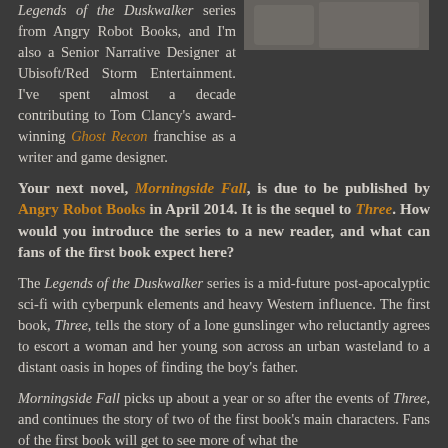Legends of the Duskwalker series from Angry Robot Books, and I'm also a Senior Narrative Designer at Ubisoft/Red Storm Entertainment. I've spent almost a decade contributing to Tom Clancy's award-winning Ghost Recon franchise as a writer and game designer.
[Figure (photo): Partial photo of a person, cropped at top of page on the right side]
Your next novel, Morningside Fall, is due to be published by Angry Robot Books in April 2014. It is the sequel to Three. How would you introduce the series to a new reader, and what can fans of the first book expect here?
The Legends of the Duskwalker series is a mid-future post-apocalyptic sci-fi with cyberpunk elements and heavy Western influence. The first book, Three, tells the story of a lone gunslinger who reluctantly agrees to escort a woman and her young son across an urban wasteland to a distant oasis in hopes of finding the boy's father.
Morningside Fall picks up about a year or so after the events of Three, and continues the story of two of the first book's main characters. Fans of the first book will get to see more of what the